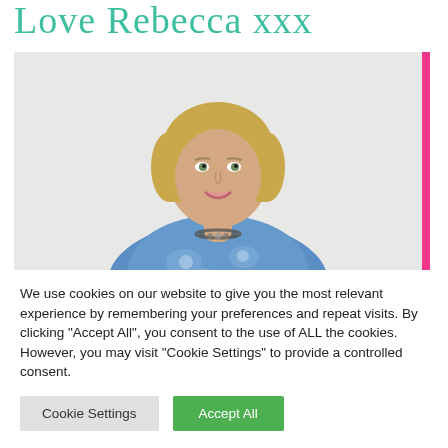Love Rebecca xxx
[Figure (photo): Portrait photo of a smiling blonde woman wearing a blue floral top and beaded necklace, photographed against a light grey/white background. A pink vertical bar appears on the right edge of the photo.]
We use cookies on our website to give you the most relevant experience by remembering your preferences and repeat visits. By clicking "Accept All", you consent to the use of ALL the cookies. However, you may visit "Cookie Settings" to provide a controlled consent.
Cookie Settings  Accept All